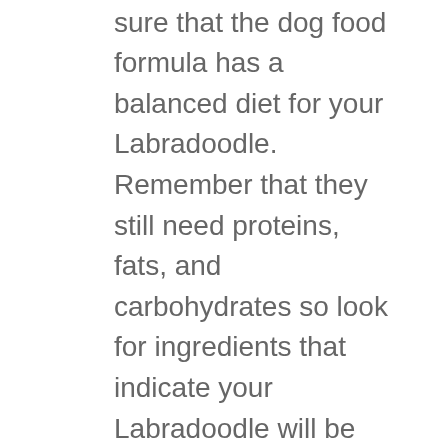you also need to make sure that the dog food formula has a balanced diet for your Labradoodle. Remember that they still need proteins, fats, and carbohydrates so look for ingredients that indicate your Labradoodle will be getting a balanced diet from the food.
In the same instance, healthy ingredients are certainly a plus and we recommend that you do the research and understand whether the formula you are feeding your dog is truly healthy.
Your Dog's Needs
What your dog needs may not be the same as what your neighbor's dog needs so keep that expectation at the forefront of your mind. You will want to choose a formula that is suitable for your